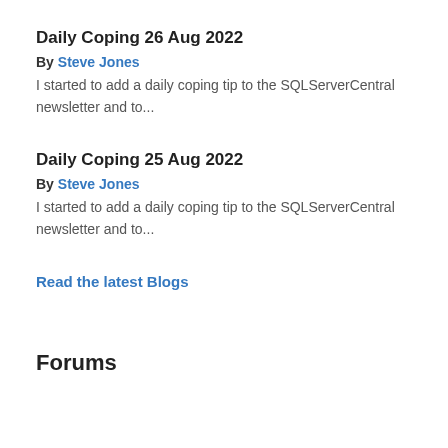Daily Coping 26 Aug 2022
By Steve Jones
I started to add a daily coping tip to the SQLServerCentral newsletter and to...
Daily Coping 25 Aug 2022
By Steve Jones
I started to add a daily coping tip to the SQLServerCentral newsletter and to...
Read the latest Blogs
Forums